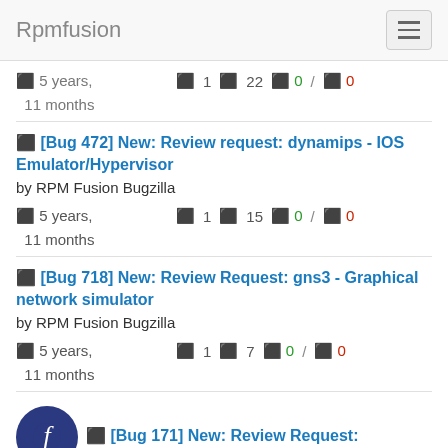Rpmfusion
5 years, 11 months (truncated top)
[Bug 472] New: Review request: dynamips - IOS Emulator/Hypervisor
by RPM Fusion Bugzilla
5 years, 11 months  1  15  0 / 0
[Bug 718] New: Review Request: gns3 - Graphical network simulator
by RPM Fusion Bugzilla
5 years, 11 months  1  7  0 / 0
[Bug 171] New: Review Request: rpmfusion-config-display -